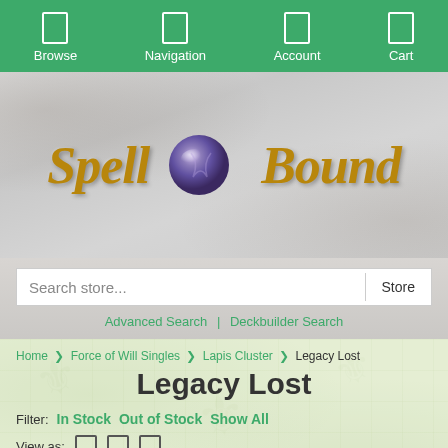Browse | Navigation | Account | Cart
[Figure (logo): Spell Bound store logo with golden text and purple crystal orb on marble background]
Search store...  Store
Advanced Search | Deckbuilder Search
Home > Force of Will Singles > Lapis Cluster > Legacy Lost
Legacy Lost
Filter: In Stock  Out of Stock  Show All
View as:
More Filters
Checkout →